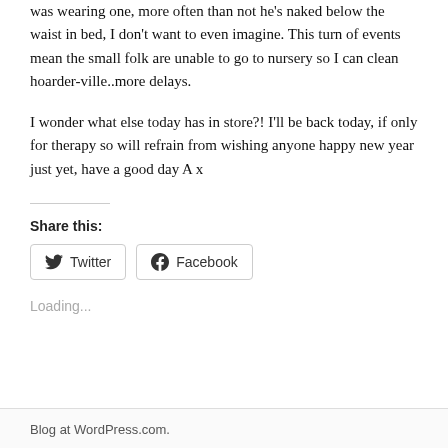was wearing one, more often than not he's naked below the waist in bed, I don't want to even imagine. This turn of events mean the small folk are unable to go to nursery so I can clean hoarder-ville..more delays.
I wonder what else today has in store?! I'll be back today, if only for therapy so will refrain from wishing anyone happy new year just yet, have a good day A x
Share this:
Loading...
Blog at WordPress.com.